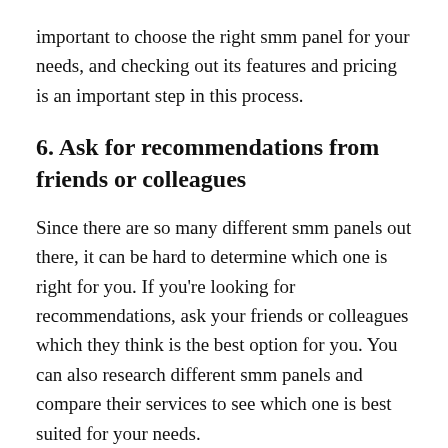important to choose the right smm panel for your needs, and checking out its features and pricing is an important step in this process.
6. Ask for recommendations from friends or colleagues
Since there are so many different smm panels out there, it can be hard to determine which one is right for you. If you're looking for recommendations, ask your friends or colleagues which they think is the best option for you. You can also research different smm panels and compare their services to see which one is best suited for your needs.